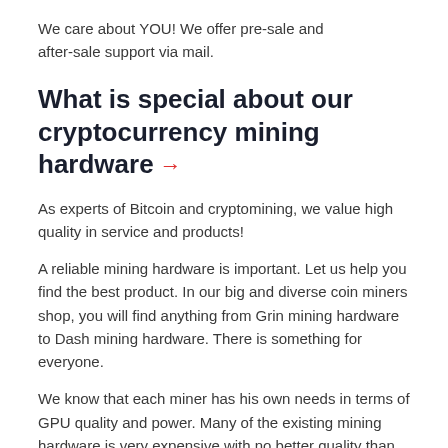We care about YOU! We offer pre-sale and after-sale support via mail.
What is special about our cryptocurrency mining hardware →
As experts of Bitcoin and cryptomining, we value high quality in service and products!
A reliable mining hardware is important. Let us help you find the best product. In our big and diverse coin miners shop, you will find anything from Grin mining hardware to Dash mining hardware. There is something for everyone.
We know that each miner has his own needs in terms of GPU quality and power. Many of the existing mining hardware is very expensive with no better quality than the standards. That's why we offer you a cheap mining